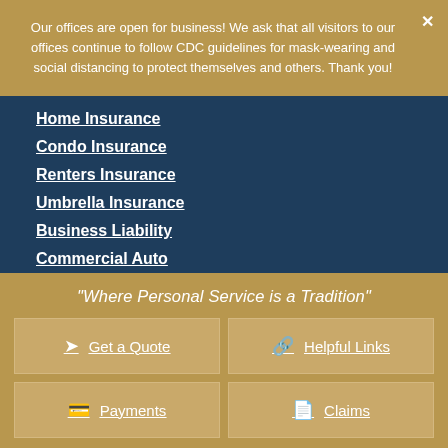Our offices are open for business! We ask that all visitors to our offices continue to follow CDC guidelines for mask-wearing and social distancing to protect themselves and others. Thank you!
Home Insurance
Condo Insurance
Renters Insurance
Umbrella Insurance
Business Liability
Commercial Auto
Commercial Property
Workers' Compensation
"Where Personal Service is a Tradition"
Get a Quote
Helpful Links
Payments
Claims